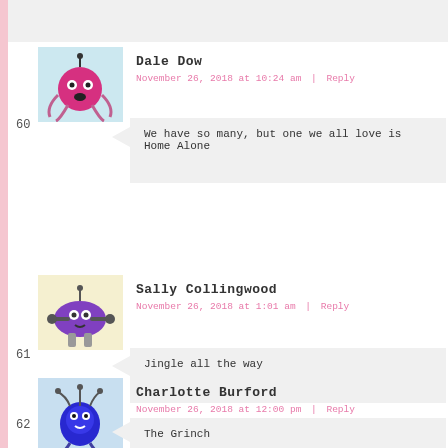[Figure (illustration): Avatar of robot character Dale Dow (pink/magenta round robot)]
Dale Dow
November 26, 2018 at 10:24 am | Reply
60
We have so many, but one we all love is Home Alone
[Figure (illustration): Avatar of robot character Sally Collingwood (purple robot)]
Sally Collingwood
November 26, 2018 at 1:01 am | Reply
61
Jingle all the way
[Figure (illustration): Avatar of robot character Charlotte Burford (blue robot)]
Charlotte Burford
November 26, 2018 at 12:00 pm | Reply
62
The Grinch